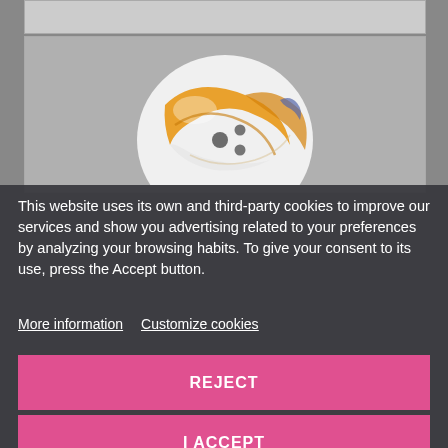[Figure (photo): A decorative bowling ball with colorful swirling orange, white, and blue design, partially visible in a product listing area on a gray website background.]
This website uses its own and third-party cookies to improve our services and show you advertising related to your preferences by analyzing your browsing habits. To give your consent to its use, press the Accept button.
More information   Customize cookies
REJECT
I ACCEPT